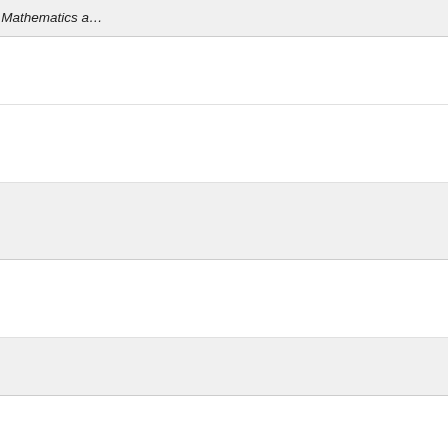Mattias Krysander, Jan Åslund, "Graph-based Analysis of Finding MSS-Relations in Overdetermined Differential-Algebraic Systems", Symbolic Computation, Applied Mathematics and...
Mattias Krysander, Mattias Nyberg, "[title truncated]", International Workshop on Principles...
Mattias Krysander, Jan Åslund, Mattias..., "Sub-systems for Construction of D...", Diagnosis DX-05,2005, 55-60, 2005.
Mattias Nyberg, Mattias Krysander, "[title]...Framework for Diagnosis", Proceedings..., 2003.
Erik Frisk, Dilek Dustegör, Mattias Kr..., "properties by structural analysis o... benchmark problem", IFAC Safepro...
Mattias Krysander, Mattias Nyberg, "S... MSS Sets", IFAC World Congress, IF...
Mattias Krysander, Mattias Nyberg, "S... Paper Plant", Proc. of the Thirteenth... Thirteenth International Workshop on...